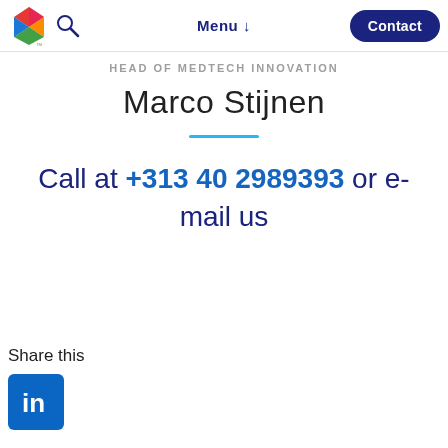Menu ↓ | Contact
HEAD OF MEDTECH INNOVATION
Marco Stijnen
Call at +313 40 2989393 or e-mail us
Share this
[Figure (logo): LinkedIn logo icon in blue square]